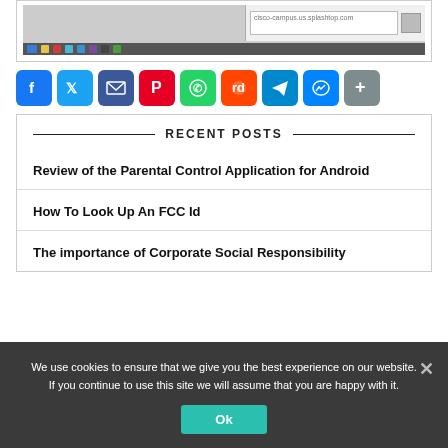[Figure (screenshot): Screenshot of a computer screen with taskbar visible at the bottom]
[Figure (infographic): Social sharing icons: Facebook, Twitter, Email, Pinterest, WhatsApp, Reddit, Telegram, Messenger, Share]
RECENT POSTS
Review of the Parental Control Application for Android
How To Look Up An FCC Id
The importance of Corporate Social Responsibility
We use cookies to ensure that we give you the best experience on our website. If you continue to use this site we will assume that you are happy with it.